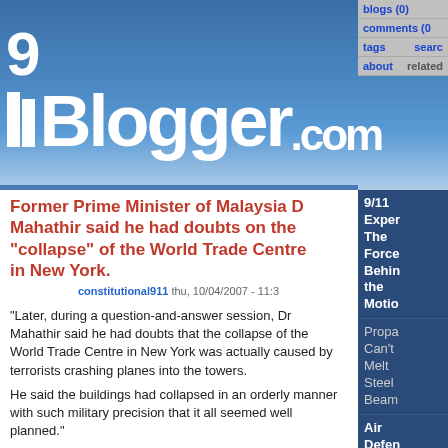911Blogger.com
blogs (0)  comments (0)  tags  search  about  related
Former Prime Minister of Malaysia Dr Mahathir said he had doubts on the "collapse" of the World Trade Centre in New York.
constitutional911  thu, 10/04/2007 - 11:3
"Later, during a question-and-answer session, Dr Mahathir said he had doubts that the collapse of the World Trade Centre in New York was actually caused by terrorists crashing planes into the towers. He said the buildings had collapsed in an orderly manner with such military precision that it all seemed well planned."
PLS SEE:
http://www.perdana4peace.org/2007/14_news2007.p
Tuesday February 6, 2007
No place for war criminals
Stories by SHAHANAAZ HABIB and LISA GOH
KUALA LUMPUR: People should use their power and
9/11 Exper The Force Behin the Motio
Propa Can't Melt Steel Beam
Air Defen Exerc a Month Bef...